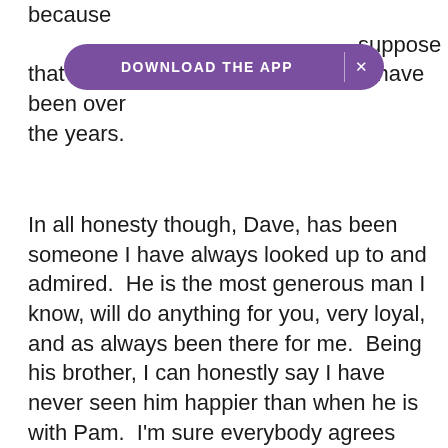because suppose that sums up how close Dave and I have been over the years.
In all honesty though, Dave, has been someone I have always looked up to and admired.  He is the most generous man I know, will do anything for you, very loyal, and as always been there for me.  Being his brother, I can honestly say I have never seen him happier than when he is with Pam.  I'm sure everybody agrees you make a great couple and it's been a pleasure to be part of this celebration of your clear love towards one another.  So I wish you luck, health, wealth and happiness.  If you could be upstanding one last time, can you all raise your glasses please to: The Bride and Groom.